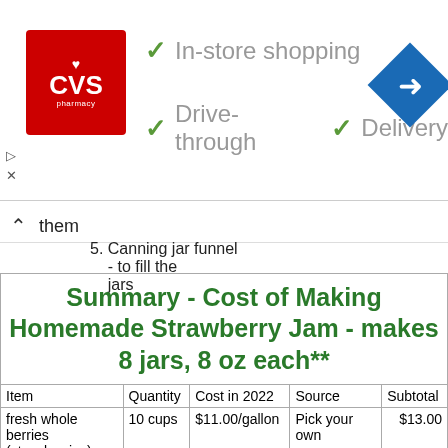[Figure (logo): CVS Pharmacy advertisement banner with logo, checkmarks for In-store shopping, Drive-through, Delivery, and a navigation arrow icon]
them
5. Canning jar funnel - to fill the jars
| Item | Quantity | Cost in 2022 | Source | Subtotal |
| --- | --- | --- | --- | --- |
| fresh whole berries (strawberries) | 10 cups | $11.00/gallon | Pick your own | $13.00 |
|  |  | $/dozen 8 oz | Grocery stores, like Public, Kroger |  |